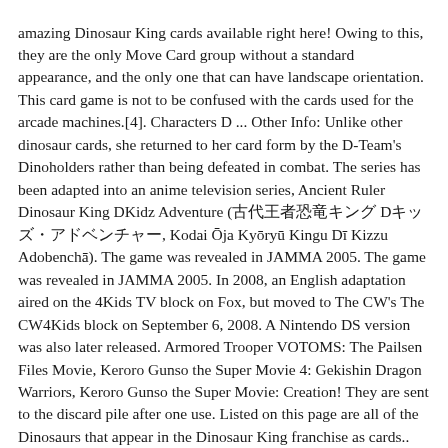amazing Dinosaur King cards available right here! Owing to this, they are the only Move Card group without a standard appearance, and the only one that can have landscape orientation. This card game is not to be confused with the cards used for the arcade machines.[4]. Characters D ... Other Info: Unlike other dinosaur cards, she returned to her card form by the D-Team's Dinoholders rather than being defeated in combat. The series has been adapted into an anime television series, Ancient Ruler Dinosaur King DKidz Adventure (古代王者恐竜キング Dキッズ・アドベンチャー, Kodai Ōja Kyōryū Kingu Dī Kizzu Adobenchā). The game was revealed in JAMMA 2005. The game was revealed in JAMMA 2005. In 2008, an English adaptation aired on the 4Kids TV block on Fox, but moved to The CW's The CW4Kids block on September 6, 2008. A Nintendo DS version was also later released. Armored Trooper VOTOMS: The Pailsen Files Movie, Keroro Gunso the Super Movie 4: Gekishin Dragon Warriors, Keroro Gunso the Super Movie: Creation! They are sent to the discard pile after one use. Listed on this page are all of the Dinosaurs that appear in the Dinosaur King franchise as cards.. The Dinosaur Egg, Mobile Suit Gundam Thunderbolt: December Sky, Mobile Suit Gundam Thunderbolt: Bandit Flower, Mobile Suit Gundam: Twilight AXIS Red Trace, Love Live! Second choose Dinosaur Card to move your dinosaur. Dinosaur King is a FANDOM Games Community. Dino King - Stone Battle. The anime contains many but not all Move Cards from the arcade game, though sometimes with different names. Customer reviews